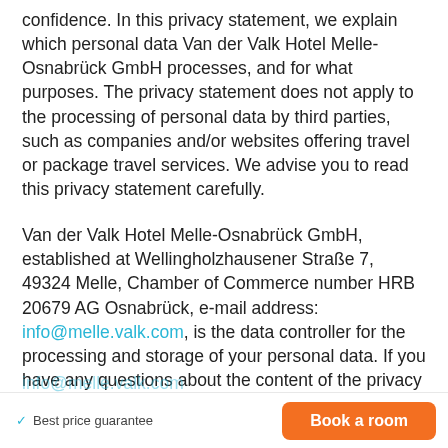confidence. In this privacy statement, we explain which personal data Van der Valk Hotel Melle-Osnabrück GmbH processes, and for what purposes. The privacy statement does not apply to the processing of personal data by third parties, such as companies and/or websites offering travel or package travel services. We advise you to read this privacy statement carefully.
Van der Valk Hotel Melle-Osnabrück GmbH, established at Wellingholzhausener Straße 7, 49324 Melle, Chamber of Commerce number HRB 20679 AG Osnabrück, e-mail address: info@melle.valk.com, is the data controller for the processing and storage of your personal data. If you have any questions about the content of the privacy statement, please contact:
info@melle.valk.com   ✓ Best price guarantee   Book a room